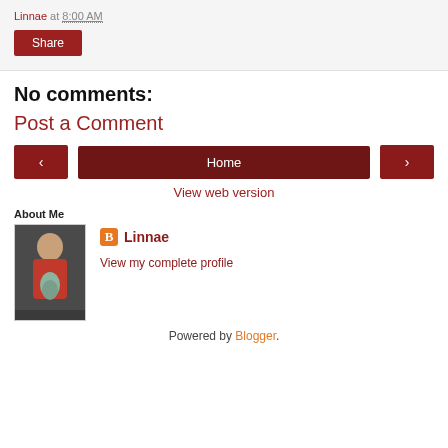Linnae at 8:00 AM
Share
No comments:
Post a Comment
‹  Home  ›
View web version
About Me
[Figure (photo): Profile photo of Linnae - woman holding a baby]
Linnae
View my complete profile
Powered by Blogger.